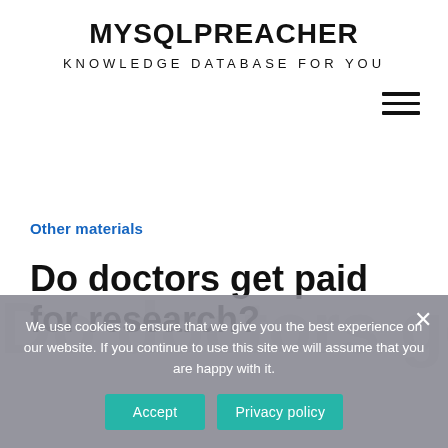MYSQLPREACHER
KNOWLEDGE DATABASE FOR YOU
Other materials
Do doctors get paid for research?
We use cookies to ensure that we give you the best experience on our website. If you continue to use this site we will assume that you are happy with it.